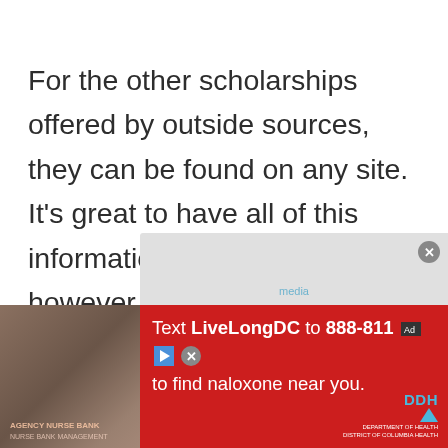For the other scholarships offered by outside sources, they can be found on any site. It’s great to have all of this information on one site, however, they can be found on any scholarship website. When students choose the scholarship they want to apply on
[Figure (other): Advertisement banner overlay: red background ad reading 'Text LiveLongDC to 888-811 to find naloxone near you.' with DHH logo and play/close icons. A photo of people is partially visible on the left side of the ad.]